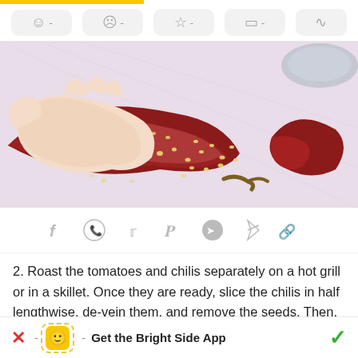toolbar with emoji, sad face, star, chat, share icons
[Figure (illustration): Illustrated hands opening a dried red chili pepper, seeds scattered on a light surface, stem visible, another chili pepper on the right side]
[Figure (infographic): Social sharing icons: Facebook, WhatsApp, Twitter, Pinterest, Messenger, Telegram, link]
2. Roast the tomatoes and chilis separately on a hot grill or in a skillet. Once they are ready, slice the chilis in half lengthwise, de-vein them, and remove the seeds. Then, submerge them in a bowl of hot water and allow them
Get the Bright Side App